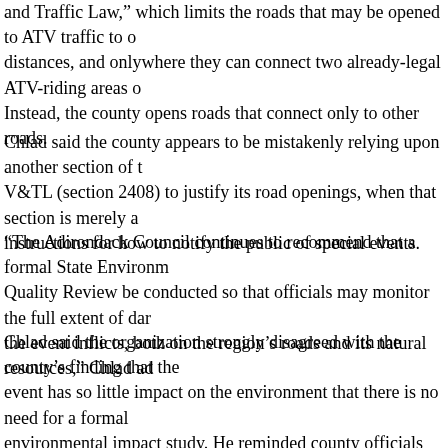and Traffic Law," which limits the roads that may be opened to ATV traffic to o distances, and onlywhere they can connect two already-legal ATV-riding areas o Instead, the county opens roads that connect only to other roads.
Chlad said the county appears to be mistakenly relying upon another section of t V&TL (section 2408) to justify its road openings, when that section is merely a instructions for how to notify the public of special events.
“The Adirondack Council continues to recommend that a formal State Environm Quality Review be conducted so that officials may monitor the full extent of dar the event inflicts, both on the region’s roads and its natural resources,” Chlad ad
Chlad said the organization strongly disagreed with the county’s finding that the event has so little impact on the environment that there is no need for a formal environmental impact study. He reminded county officials that the NY State Environmental Quality Review Act requires a formal environmental review of a proposed event that would cause one of the following to environmental changes
Substantial adverse change in noise levels;
Substantial increase in soil erosion;